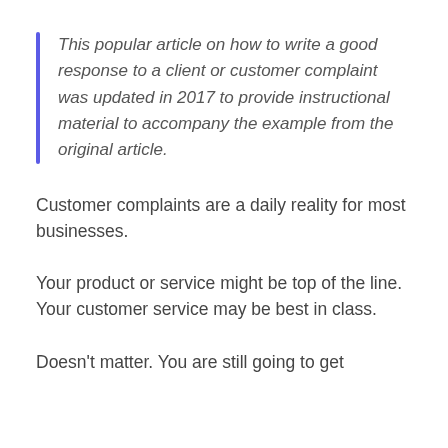This popular article on how to write a good response to a client or customer complaint was updated in 2017 to provide instructional material to accompany the example from the original article.
Customer complaints are a daily reality for most businesses.
Your product or service might be top of the line. Your customer service may be best in class.
Doesn't matter. You are still going to get